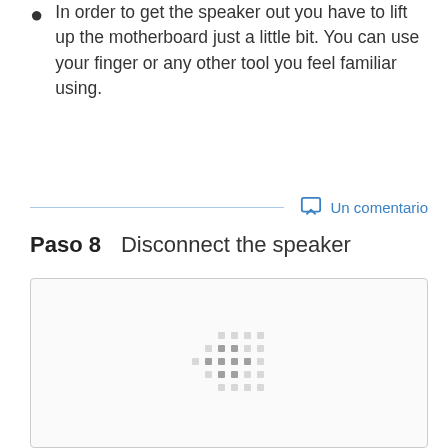In order to get the speaker out you have to lift up the motherboard just a little bit. You can use your finger or any other tool you feel familiar using.
Un comentario
Paso 8   Disconnect the speaker
[Figure (photo): Image placeholder with loading indicator dots shown as a grid pattern]